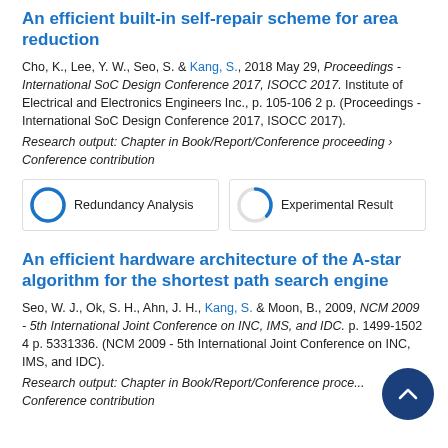An efficient built-in self-repair scheme for area reduction
Cho, K., Lee, Y. W., Seo, S. & Kang, S., 2018 May 29, Proceedings - International SoC Design Conference 2017, ISOCC 2017. Institute of Electrical and Electronics Engineers Inc., p. 105-106 2 p. (Proceedings - International SoC Design Conference 2017, ISOCC 2017).
Research output: Chapter in Book/Report/Conference proceeding › Conference contribution
[Figure (infographic): Two keyword badges: 100% Redundancy Analysis and 37% Experimental Result]
An efficient hardware architecture of the A-star algorithm for the shortest path search engine
Seo, W. J., Ok, S. H., Ahn, J. H., Kang, S. & Moon, B., 2009, NCM 2009 - 5th International Joint Conference on INC, IMS, and IDC. p. 1499-1502 4 p. 5331336. (NCM 2009 - 5th International Joint Conference on INC, IMS, and IDC).
Research output: Chapter in Book/Report/Conference proceeding › Conference contribution